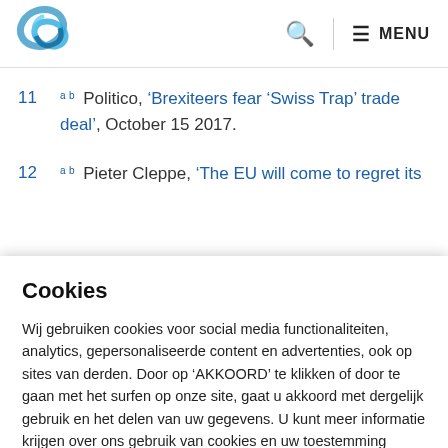[Figure (logo): Blue swirling logo mark with letter C]
11  a b  Politico, 'Brexiteers fear ‘Swiss Trap’ trade deal', October 15 2017.
12  a b  Pieter Cleppe, 'The EU will come to regret its ...
Cookies
Wij gebruiken cookies voor social media functionaliteiten, analytics, gepersonaliseerde content en advertenties, ook op sites van derden. Door op ‘AKKOORD’ te klikken of door te gaan met het surfen op onze site, gaat u akkoord met dergelijk gebruik en het delen van uw gegevens. U kunt meer informatie krijgen over ons gebruik van cookies en uw toestemming intrekken via de ‘Cookie-instellingen’.
Cookie settings  Accepteren